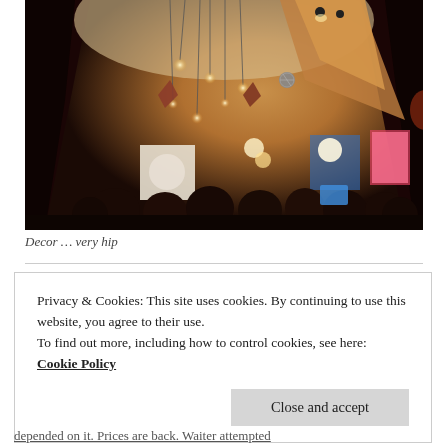[Figure (photo): Interior photo of a hip restaurant or bar viewed through dark curtains/drapes. The space has warm Edison-style hanging bulb lights, pendant lamp shades, a ceiling with sparkly/glittery surface, a disco ball, colorful artwork on the walls, and a crowd of people seated. The lighting is warm amber.]
Decor … very hip
Privacy & Cookies: This site uses cookies. By continuing to use this website, you agree to their use.
To find out more, including how to control cookies, see here: Cookie Policy
Close and accept
depended on it. Prices are back. Waiter attempted